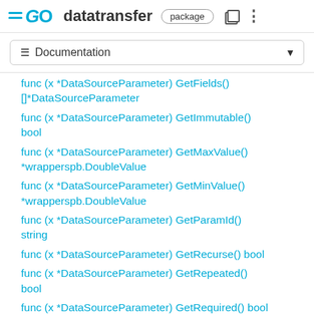GO datatransfer package
☰ Documentation
func (x *DataSourceParameter) GetFields() []*DataSourceParameter
func (x *DataSourceParameter) GetImmutable() bool
func (x *DataSourceParameter) GetMaxValue() *wrapperspb.DoubleValue
func (x *DataSourceParameter) GetMinValue() *wrapperspb.DoubleValue
func (x *DataSourceParameter) GetParamId() string
func (x *DataSourceParameter) GetRecurse() bool
func (x *DataSourceParameter) GetRepeated() bool
func (x *DataSourceParameter) GetRequired() bool
func (x *DataSourceParameter) GetType()